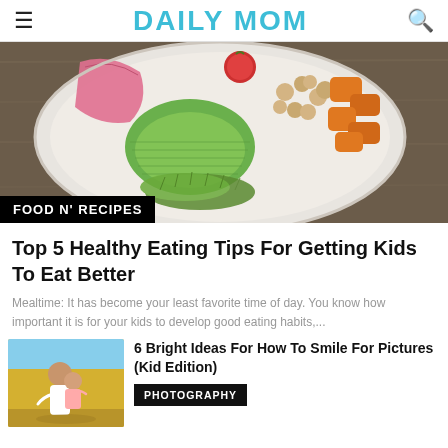DAILY MOM
[Figure (photo): Overhead view of a colorful healthy food bowl with avocado, chickpeas, roasted sweet potato, microgreens, tomato, and pink dragon fruit on a wooden surface]
FOOD N' RECIPES
Top 5 Healthy Eating Tips For Getting Kids To Eat Better
Mealtime: It has become your least favorite time of day. You know how important it is for your kids to develop good eating habits,...
[Figure (photo): A mother holding a young child outdoors near a yellow building]
6 Bright Ideas For How To Smile For Pictures (Kid Edition)
PHOTOGRAPHY